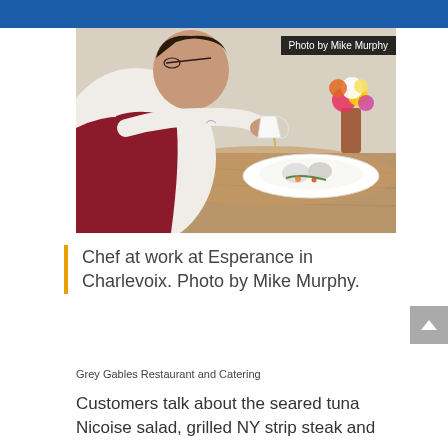[Figure (photo): Chef in red apron and white shirt, bent over a white plate, pouring sauce. Flowers in background. Photo credited to Mike Murphy.]
Chef at work at Esperance in Charlevoix. Photo by Mike Murphy.
Grey Gables Restaurant and Catering
Customers talk about the seared tuna Nicoise salad, grilled NY strip steak and